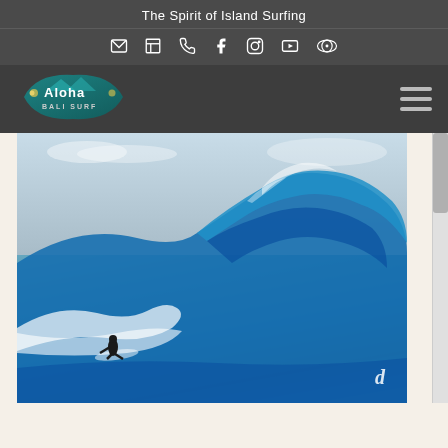The Spirit of Island Surfing
[Figure (illustration): Social media and contact icon bar: envelope, map, phone, facebook, instagram, youtube, tripadvisor icons]
[Figure (logo): Aloha Bali Surf shop logo with tropical design]
[Figure (photo): Surfer riding a large barrel wave in blue ocean water, dramatic surf photography]